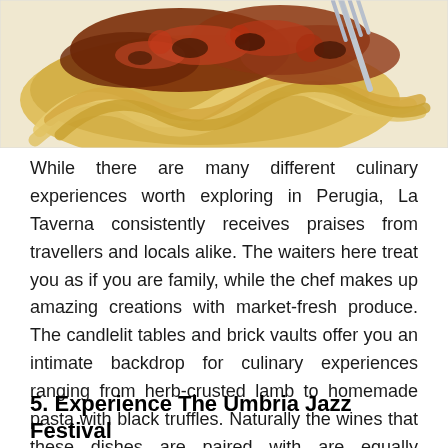[Figure (photo): Close-up photo of pappardelle pasta with rich meat bolognese sauce topped with tomato ragù, with a fork visible in the upper right corner]
While there are many different culinary experiences worth exploring in Perugia, La Taverna consistently receives praises from travellers and locals alike. The waiters here treat you as if you are family, while the chef makes up amazing creations with market-fresh produce. The candlelit tables and brick vaults offer you an intimate backdrop for culinary experiences ranging from herb-crusted lamb to homemade pasta with black truffles. Naturally the wines that these dishes are paired with are equally impressive. Visit La Taverna website.
5. Experience The Umbria Jazz Festival